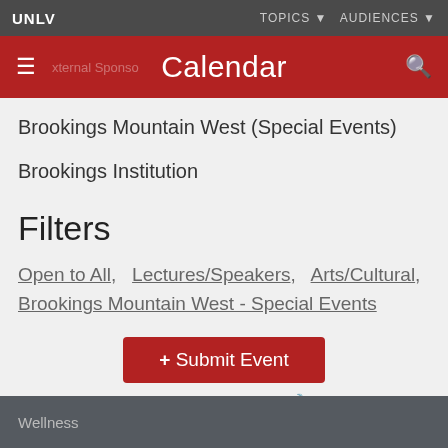UNLV   TOPICS ▼   AUDIENCES ▼
Calendar
Brookings Mountain West (Special Events)
Brookings Institution
Filters
Open to All,  Lectures/Speakers,  Arts/Cultural,  Brookings Mountain West - Special Events
+ Submit Event
🔧 Update/Fix Event
Wellness